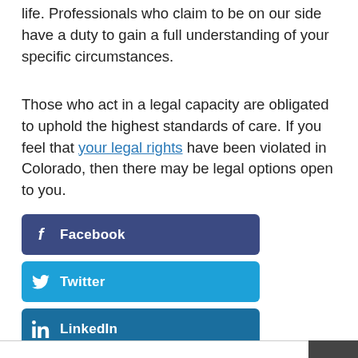life. Professionals who claim to be on our side have a duty to gain a full understanding of your specific circumstances.
Those who act in a legal capacity are obligated to uphold the highest standards of care. If you feel that your legal rights have been violated in Colorado, then there may be legal options open to you.
Facebook
Twitter
LinkedIn